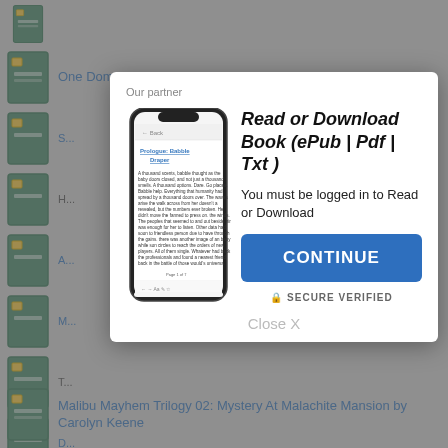One Dom at a Time by Holly Roberts
Malibu Mayhem Trilogy 02: Mystery At Malachite Mansion by Carolyn Keene
[Figure (screenshot): Modal dialog on a book listing website showing a prompt to read or download a book. Contains a phone mockup showing book content, title 'Read or Download Book (ePub | Pdf | Txt)', login requirement message, a CONTINUE button, SECURE VERIFIED label, and Close X option.]
Our partner
Read or Download Book (ePub | Pdf | Txt )
You must be logged in to Read or Download
CONTINUE
🔒 SECURE VERIFIED
Close X